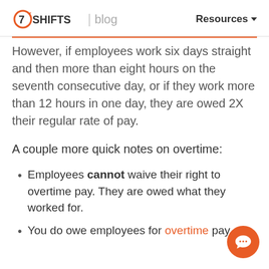7SHIFTS | blog  Resources
However, if employees work six days straight and then more than eight hours on the seventh consecutive day, or if they work more than 12 hours in one day, they are owed 2X their regular rate of pay.
A couple more quick notes on overtime:
Employees cannot waive their right to overtime pay. They are owed what they worked for.
You do owe employees for overtime pay